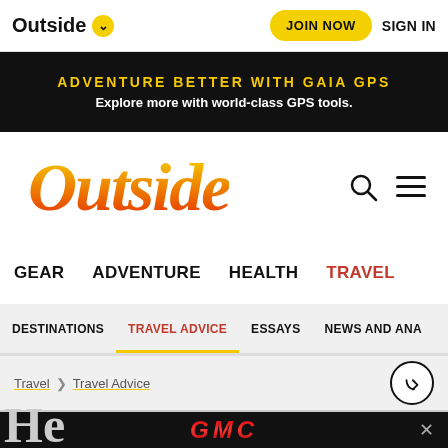Outside ▾   JOIN NOW   SIGN IN
[Figure (infographic): Black banner ad: ADVENTURE BETTER WITH GAIA GPS — Explore more with world-class GPS tools.]
Outside
GEAR   ADVENTURE   HEALTH   TRAVEL
DESTINATIONS   TRAVEL ADVICE   ESSAYS   NEWS AND ANA...
Travel > Travel Advice
[Figure (infographic): GMC logo advertisement banner with close button]
He